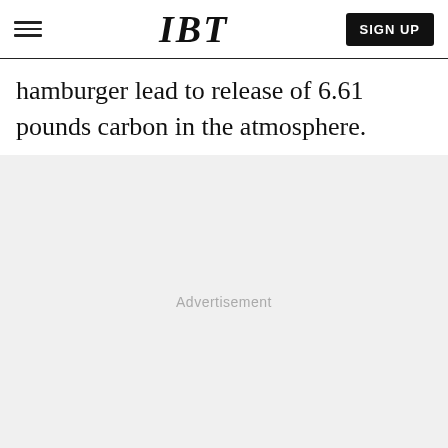IBT | SIGN UP
hamburger lead to release of 6.61 pounds carbon in the atmosphere.
[Figure (other): Advertisement placeholder area with light grey background and 'Advertisement' label centered.]